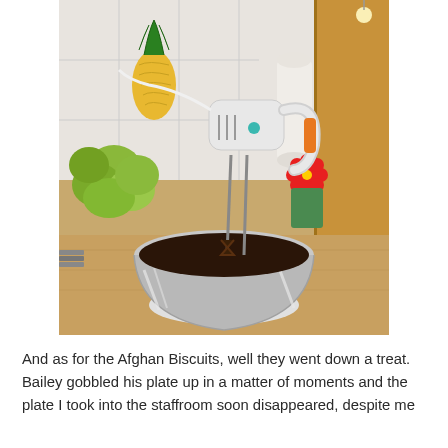[Figure (photo): A white electric hand mixer with beaters submerged in a stainless steel mixing bowl filled with dark chocolate batter, sitting on a wooden kitchen countertop. In the background there are green apples, a pineapple, a paper towel roll, and a red flower decoration.]
And as for the Afghan Biscuits, well they went down a treat. Bailey gobbled his plate up in a matter of moments and the plate I took into the staffroom soon disappeared, despite me